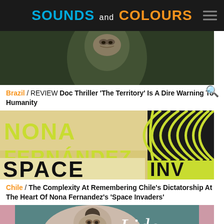SOUNDS and COLOURS
[Figure (photo): Close-up photo of a person's face against a natural background]
Brazil / REVIEW Doc Thriller 'The Territory' Is A Dire Warning To Humanity
[Figure (photo): Book cover of Nona Fernández with black and yellow design featuring the text NONA FERNÁNDEZ and SPACE]
Chile / The Complexity At Remembering Chile's Dictatorship At The Heart Of Nona Fernandez's 'Space Invaders'
[Figure (photo): Photo of a woman smiling with Lido TV text overlay on a teal/pink background]